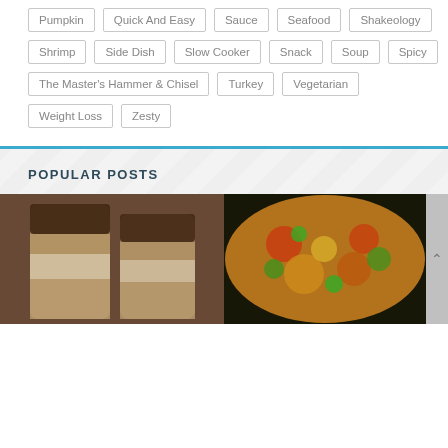Pumpkin
Quick And Easy
Sauce
Seafood
Shakeology
Shrimp
Side Dish
Slow Cooker
Snack
Soup
Spicy
The Master's Hammer & Chisel
Turkey
Vegetarian
Weight Loss
Zesty
POPULAR POSTS
[Figure (photo): Two glass jars with layered ingredients, chocolate and cream layers visible]
[Figure (photo): A colorful stir fry dish with vegetables, eggs, red peppers, and green herbs in a skillet]